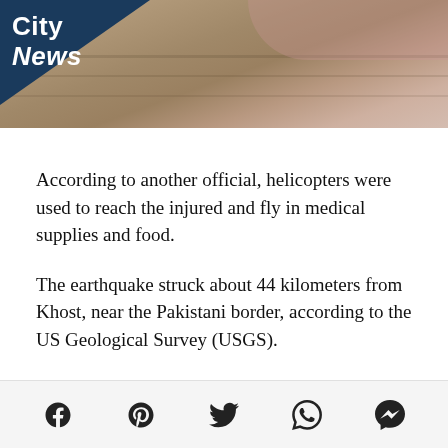[Figure (photo): Header image showing a rocky/dusty landscape with City News logo overlay in dark blue]
According to another official, helicopters were used to reach the injured and fly in medical supplies and food.
The earthquake struck about 44 kilometers from Khost, near the Pakistani border, according to the US Geological Survey (USGS).
In a statement, Hibatullah Akhundzada, the leader of the Islamic Emirate of Afghanistan, offered his condolences.
Social share icons: Facebook, Pinterest, Twitter, WhatsApp, Messenger